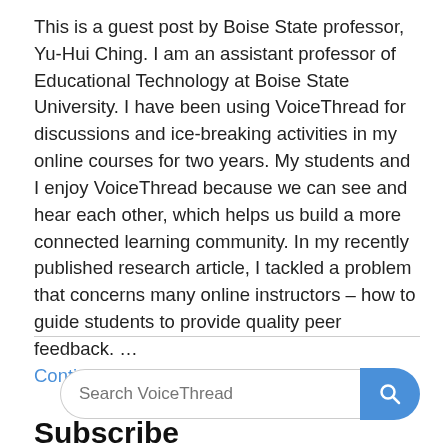This is a guest post by Boise State professor, Yu-Hui Ching. I am an assistant professor of Educational Technology at Boise State University. I have been using VoiceThread for discussions and ice-breaking activities in my online courses for two years. My students and I enjoy VoiceThread because we can see and hear each other, which helps us build a more connected learning community. In my recently published research article, I tackled a problem that concerns many online instructors – how to guide students to provide quality peer feedback. … Continued
Subscribe